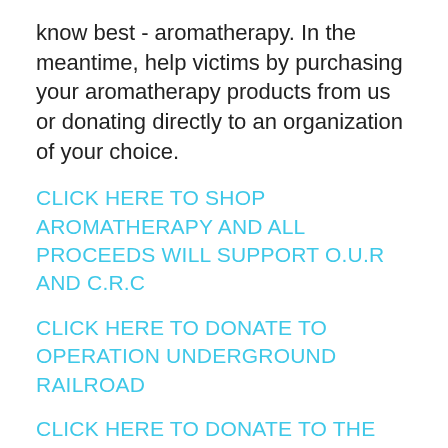know best - aromatherapy. In the meantime, help victims by purchasing your aromatherapy products from us or donating directly to an organization of your choice.
CLICK HERE TO SHOP AROMATHERAPY AND ALL PROCEEDS WILL SUPPORT O.U.R AND C.R.C
CLICK HERE TO DONATE TO OPERATION UNDERGROUND RAILROAD
CLICK HERE TO DONATE TO THE